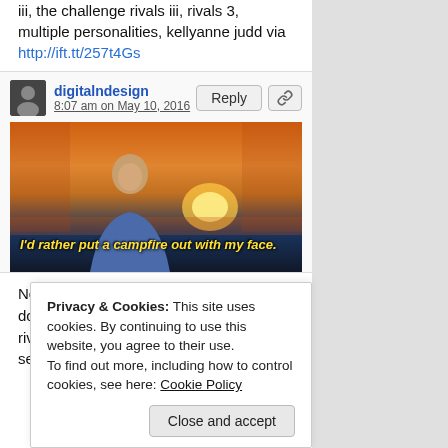iii, the challenge rivals iii, rivals 3, multiple personalities, kellyanne judd via http://ift.tt/257t4Gs
digitalndesign
8:07 am on May 10, 2016
[Figure (photo): A man in a blue shirt against a sunset background with the caption: I'd rather put a campfire out with my face.]
New trending GIF tagged no, mtv, johnny, do not want, the challenge, Decline, rivals iii, the challenge rivals iii, rivals 3, season 28, johnny bananas,
Privacy & Cookies: This site uses cookies. By continuing to use this website, you agree to their use.
To find out more, including how to control cookies, see here: Cookie Policy